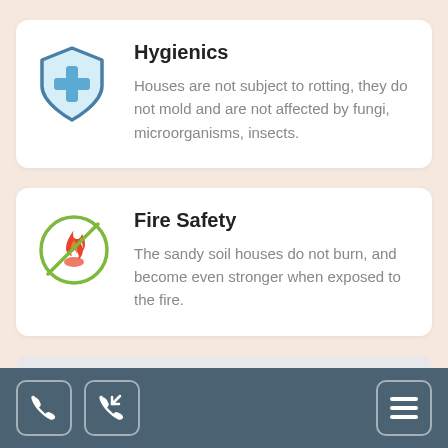[Figure (infographic): Card 1: Shield icon with plus sign (hygienics) and card 2: Fire with no-symbol circle (fire safety)]
Hygienics
Houses are not subject to rotting, they do not mold and are not affected by fungi, microorganisms, insects.
Fire Safety
The sandy soil houses do not burn, and become even stronger when exposed to the fire.
[Figure (screenshot): Bottom navigation bar with phone icon, incoming call icon, and menu (hamburger) icon on dark teal background]